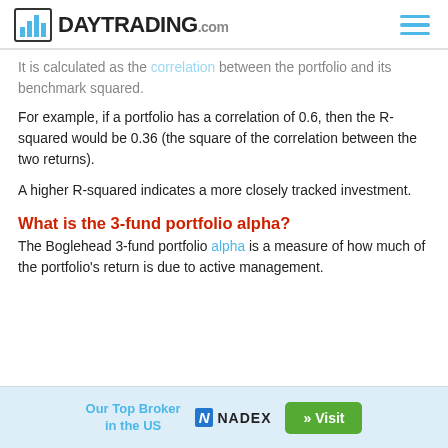DAYTRADING.com
It is calculated as the correlation between the portfolio and its benchmark squared.
For example, if a portfolio has a correlation of 0.6, then the R-squared would be 0.36 (the square of the correlation between the two returns).
A higher R-squared indicates a more closely tracked investment.
What is the 3-fund portfolio alpha?
The Boglehead 3-fund portfolio alpha is a measure of how much of the portfolio's return is due to active management.
Our Top Broker in the US  NADEX  » Visit